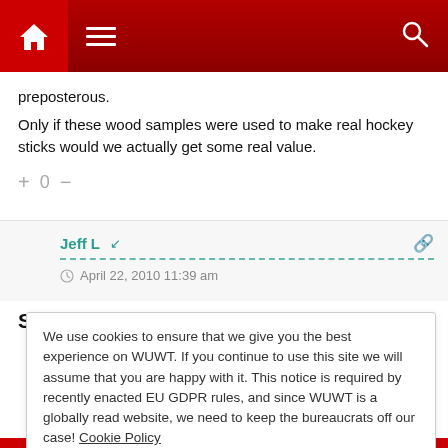[Figure (screenshot): Website navigation bar with dark red background, home icon on left, hamburger menu, and search icon on right]
preposterous.
Only if these wood samples were used to make real hockey sticks would we actually get some real value.
+ 0 −
Jeff L
April 22, 2010 11:39 am
So, what's next?
We use cookies to ensure that we give you the best experience on WUWT. If you continue to use this site we will assume that you are happy with it. This notice is required by recently enacted EU GDPR rules, and since WUWT is a globally read website, we need to keep the bureaucrats off our case! Cookie Policy
Close and accept